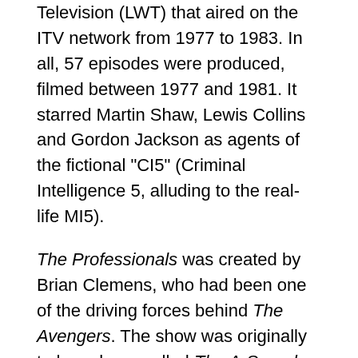Television (LWT) that aired on the ITV network from 1977 to 1983. In all, 57 episodes were produced, filmed between 1977 and 1981. It starred Martin Shaw, Lewis Collins and Gordon Jackson as agents of the fictional "CI5" (Criminal Intelligence 5, alluding to the real-life MI5).
The Professionals was created by Brian Clemens, who had been one of the driving forces behind The Avengers. The show was originally to have been called The A-Squad. Clemens and Albert Fennell were executive producers, with business partner Laurie Johnson providing the theme music. Sidney Hayers produced the first series in 1977, and Raymond Menmuir the remainder.
Outline[edit]